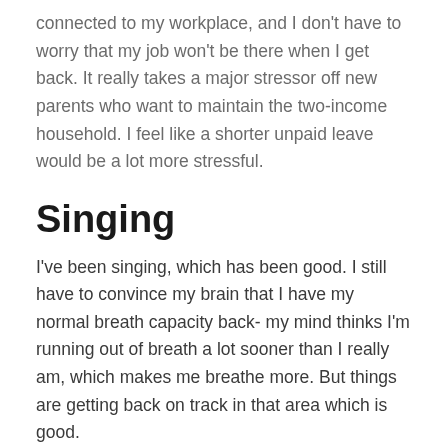connected to my workplace, and I don't have to worry that my job won't be there when I get back. It really takes a major stressor off new parents who want to maintain the two-income household. I feel like a shorter unpaid leave would be a lot more stressful.
Singing
I've been singing, which has been good. I still have to convince my brain that I have my normal breath capacity back- my mind thinks I'm running out of breath a lot sooner than I really am, which makes me breathe more. But things are getting back on track in that area which is good.
I managed to record a track for Eric Whitacre's